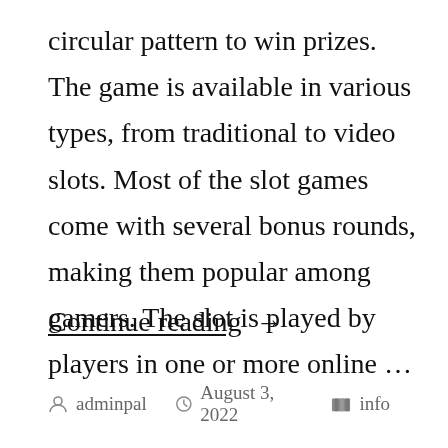circular pattern to win prizes. The game is available in various types, from traditional to video slots. Most of the slot games come with several bonus rounds, making them popular among gamers. The slot is played by players in one or more online …
Continue reading →
adminpal   August 3, 2022   info